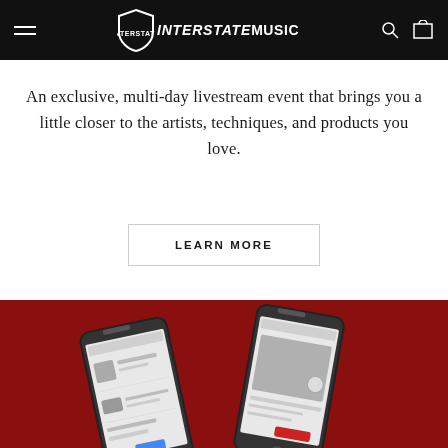Interstate Music — Navigation header with hamburger menu, logo, search and cart icons
An exclusive, multi-day livestream event that brings you a little closer to the artists, techniques, and products you love.
LEARN MORE
[Figure (photo): Two smartphones displayed against a dark red background, showing app interfaces on their screens]